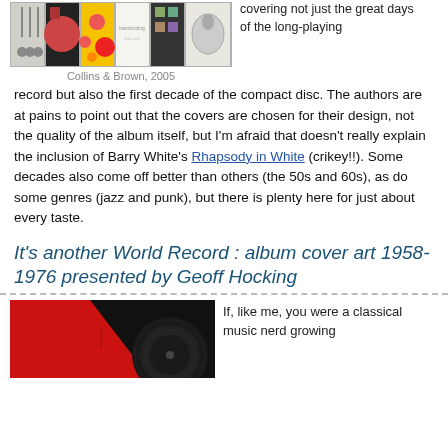[Figure (photo): Row of album covers from Collins & Brown, 2005]
Collins & Brown, 2005
covering not just the great days of the long-playing record but also the first decade of the compact disc. The authors are at pains to point out that the covers are chosen for their design, not the quality of the album itself, but I'm afraid that doesn't really explain the inclusion of Barry White's Rhapsody in White (crikey!!). Some decades also come off better than others (the 50s and 60s), as do some genres (jazz and punk), but there is plenty here for just about every taste.
It's another World Record : album cover art 1958-1976 presented by Geoff Hocking
[Figure (photo): Red and black vinyl record album cover]
If, like me, you were a classical music nerd growing